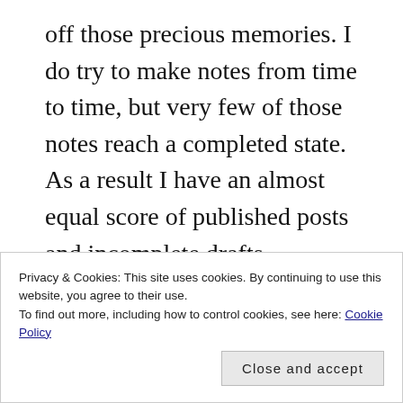off those precious memories. I do try to make notes from time to time, but very few of those notes reach a completed state. As a result I have an almost equal score of published posts and incomplete drafts.

With hope of understanding myself, my life and the people in it better through my writings, here's celebrating my blog's first anniversary and hoping for many more
Privacy & Cookies: This site uses cookies. By continuing to use this website, you agree to their use.
To find out more, including how to control cookies, see here: Cookie Policy